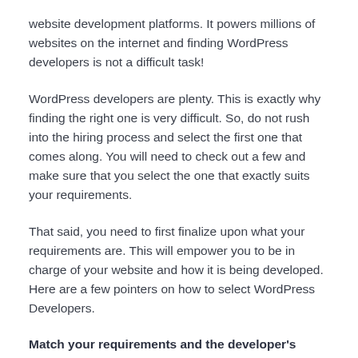website development platforms. It powers millions of websites on the internet and finding WordPress developers is not a difficult task!
WordPress developers are plenty. This is exactly why finding the right one is very difficult. So, do not rush into the hiring process and select the first one that comes along. You will need to check out a few and make sure that you select the one that exactly suits your requirements.
That said, you need to first finalize upon what your requirements are. This will empower you to be in charge of your website and how it is being developed. Here are a few pointers on how to select WordPress Developers.
Match your requirements and the developer's WordPress skills